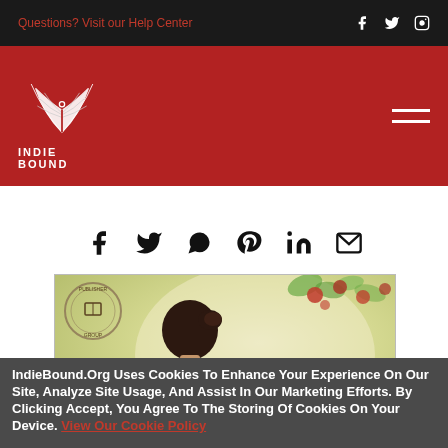Questions? Visit our Help Center
[Figure (logo): IndieBound logo with stylized feather/book on red header background]
[Figure (illustration): Social share icons row: Facebook, Twitter, WhatsApp, Pinterest, LinkedIn, Email]
[Figure (photo): Book cover for 'the SCARLET THREAD' showing woman from behind with updo hairstyle against soft floral background with publisher stamp]
IndieBound.Org Uses Cookies To Enhance Your Experience On Our Site, Analyze Site Usage, And Assist In Our Marketing Efforts. By Clicking Accept, You Agree To The Storing Of Cookies On Your Device. View Our Cookie Policy